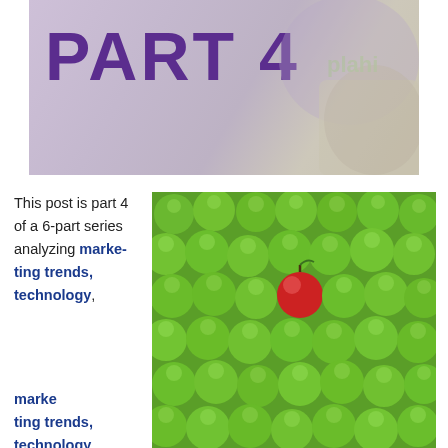[Figure (photo): Banner image with 'PART 4' text in large purple bold font over a light purple/beige background with puzzle piece overlay]
This post is part 4 of a 6-part series analyzing marketing trends, technology, and the role of the marketer in an A&E firm. The previous three posts looked at the culture of an A&E firm and how it affects marketing
[Figure (photo): Photo of many green apples with one red apple standing out among them, representing differentiation]